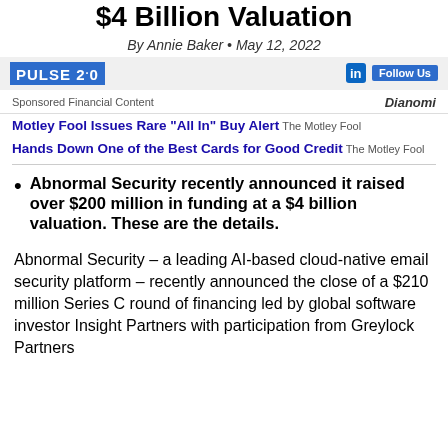$4 Billion Valuation
By Annie Baker • May 12, 2022
PULSE 2.0 | Follow Us
Sponsored Financial Content | Dianomi
Motley Fool Issues Rare "All In" Buy Alert The Motley Fool
Hands Down One of the Best Cards for Good Credit The Motley Fool
Abnormal Security recently announced it raised over $200 million in funding at a $4 billion valuation. These are the details.
Abnormal Security – a leading AI-based cloud-native email security platform – recently announced the close of a $210 million Series C round of financing led by global software investor Insight Partners with participation from Greylock Partners